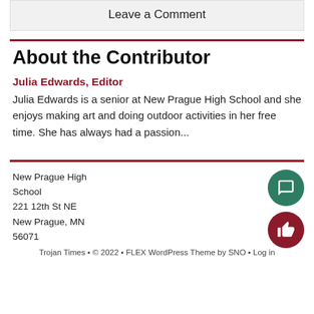Leave a Comment
About the Contributor
Julia Edwards, Editor
Julia Edwards is a senior at New Prague High School and she enjoys making art and doing outdoor activities in her free time. She has always had a passion...
New Prague High School
221 12th St NE
New Prague, MN
56071
Trojan Times • © 2022 • FLEX WordPress Theme by SNO • Log in